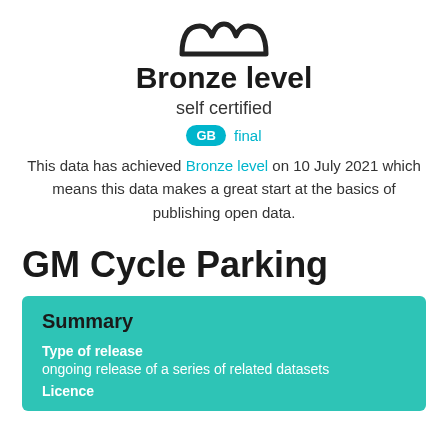[Figure (logo): Crown/open data certificate icon at top of page]
Bronze level
self certified
GB  final
This data has achieved Bronze level on 10 July 2021 which means this data makes a great start at the basics of publishing open data.
GM Cycle Parking
Summary
Type of release
ongoing release of a series of related datasets
Licence